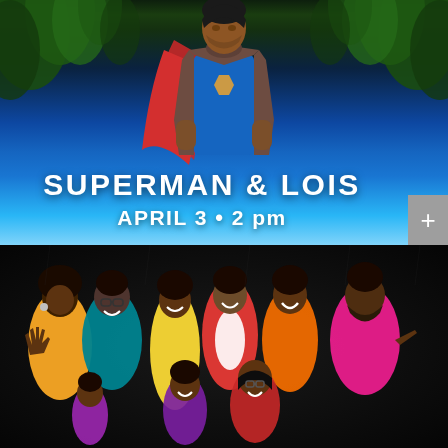[Figure (photo): Superman & Lois TV show promotional poster: A man in a Superman suit with a red cape partially visible, wearing a brown jacket over it, standing in front of green cornfield/plants with a blue sky gradient background. Text overlay reads 'SUPERMAN & LOIS' and 'APRIL 3 • 2 pm'. A gray '+' button appears on the right side.]
[Figure (photo): Black-ish TV show cast photo: A large family group of African American actors posing together against a black background, wearing colorful outfits (yellow, teal, orange, pink, red). The cast includes adults and children smiling and laughing.]